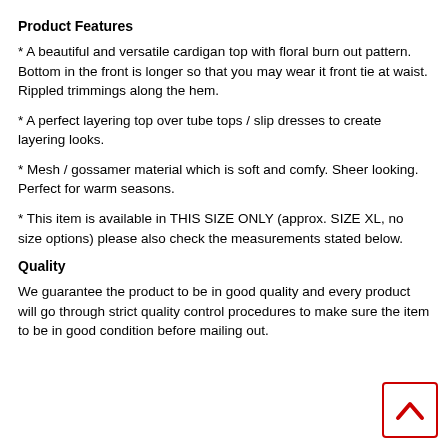Product Features
* A beautiful and versatile cardigan top with floral burn out pattern. Bottom in the front is longer so that you may wear it front tie at waist. Rippled trimmings along the hem.
* A perfect layering top over tube tops / slip dresses to create layering looks.
* Mesh / gossamer material which is soft and comfy. Sheer looking. Perfect for warm seasons.
* This item is available in THIS SIZE ONLY (approx. SIZE XL, no size options) please also check the measurements stated below.
Quality
We guarantee the product to be in good quality and every product will go through strict quality control procedures to make sure the item to be in good condition before mailing out.